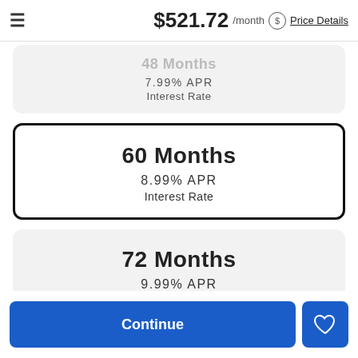$521.72 /month  Price Details
48 Months
7.99% APR
Interest Rate
60 Months
8.99% APR
Interest Rate
72 Months
9.99% APR
Interest Rate
Continue